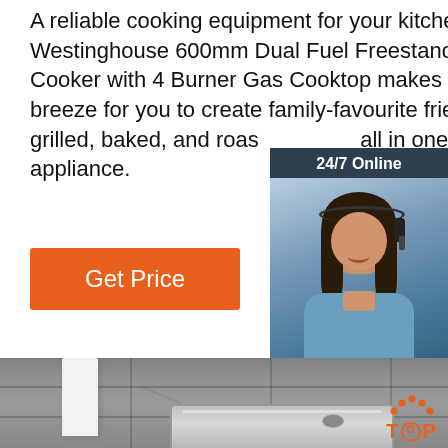A reliable cooking equipment for your kitchen, the Westinghouse 600mm Dual Fuel Freestanding Cooker with 4 Burner Gas Cooktop makes it a breeze for you to create family-favourite fried, grilled, baked, and roasted all in one handy appliance.
[Figure (other): Orange Get Price button]
[Figure (infographic): 24/7 Online chat widget with agent photo, 'Click here for free chat!' text and QUOTATION button]
[Figure (photo): Kitchen floor photo showing white appliance leg, grey tiles, stainless steel sink, and TOP logo in orange]